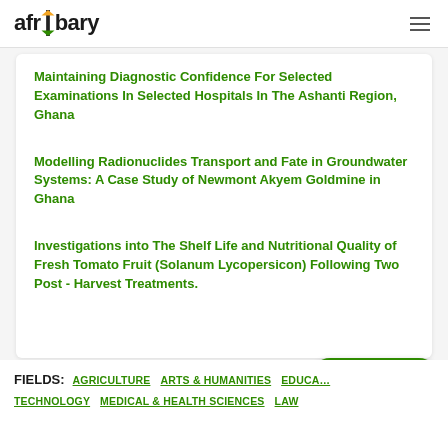afribary
Maintaining Diagnostic Confidence For Selected Examinations In Selected Hospitals In The Ashanti Region, Ghana
Modelling Radionuclides Transport and Fate in Groundwater Systems: A Case Study of Newmont Akyem Goldmine in Ghana
Investigations into The Shelf Life and Nutritional Quality of Fresh Tomato Fruit (Solanum Lycopersicon) Following Two Post - Harvest Treatments.
FIELDS: AGRICULTURE  ARTS & HUMANITIES  EDUCATION  TECHNOLOGY  MEDICAL & HEALTH SCIENCES  LAW